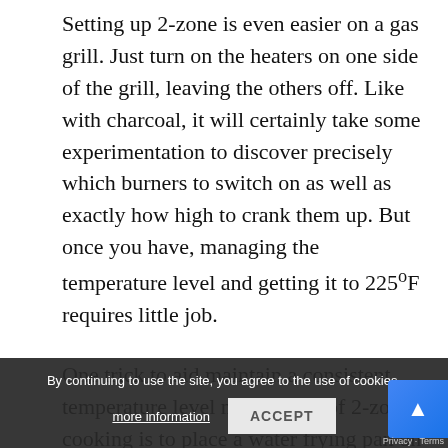Setting up 2-zone is even easier on a gas grill. Just turn on the heaters on one side of the grill, leaving the others off. Like with charcoal, it will certainly take some experimentation to discover precisely which burners to switch on as well as exactly how high to crank them up. But once you have, managing the temperature level and getting it to 225°F requires little job.
One trick to aid maintain a consistent temperature level making use of 2-zone cooking is to place a water frying pan on the grill. Water soaks up the warm and then radiates it when... maintain overall grill temperature consistent when the heat resource spikes or drops suddenly.
By continuing to use the site, you agree to the use of cookies.
more information   ACCEPT